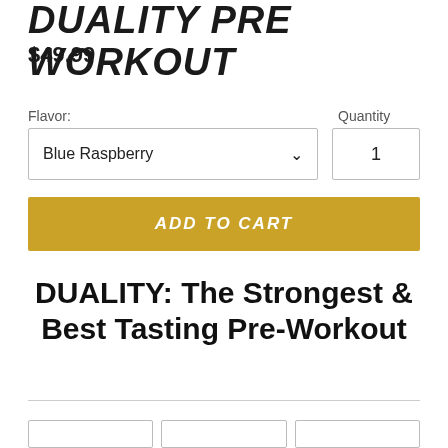DUALITY PRE WORKOUT
$49.99
Flavor:
Quantity
Blue Raspberry
1
ADD TO CART
DUALITY: The Strongest & Best Tasting Pre-Workout